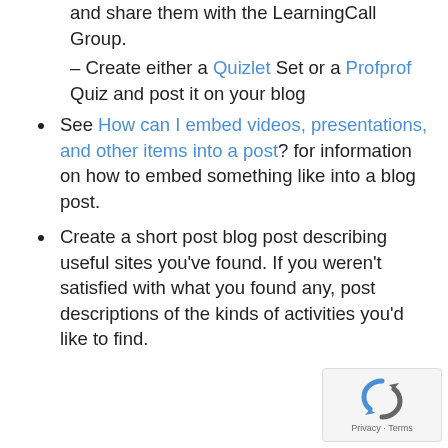and share them with the LearningCall Group. – Create either a Quizlet Set or a Profprof Quiz and post it on your blog
See How can I embed videos, presentations, and other items into a post? for information on how to embed something like into a blog post.
Create a short post blog post describing useful sites you've found. If you weren't satisfied with what you found any, post descriptions of the kinds of activities you'd like to find.